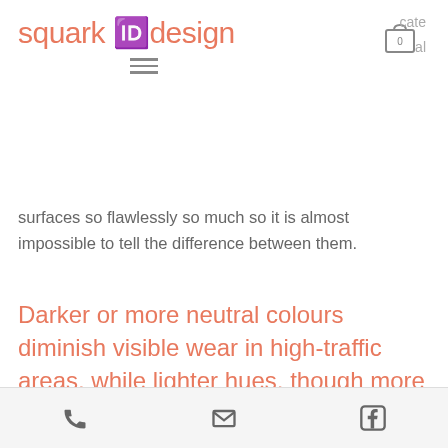squark design
surfaces so flawlessly so much so it is almost impossible to tell the difference between them.
Darker or more neutral colours diminish visible wear in high-traffic areas, while lighter hues, though more susceptible to ageing tend to brighten a room.
Although patterned coverings can be
phone | email | facebook